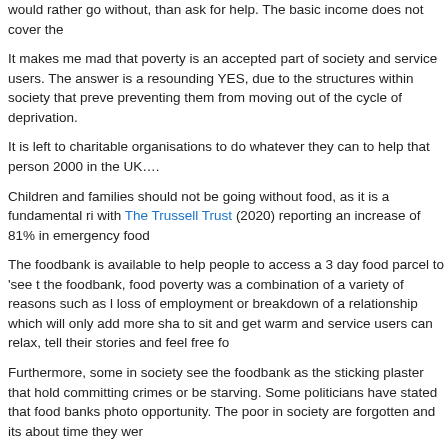would rather go without, than ask for help. The basic income does not cover the
It makes me mad that poverty is an accepted part of society and service users. The answer is a resounding YES, due to the structures within society that preventing them from moving out of the cycle of deprivation.
It is left to charitable organisations to do whatever they can to help that person 2000 in the UK….
Children and families should not be going without food, as it is a fundamental ri with The Trussell Trust (2020) reporting an increase of 81% in emergency food
The foodbank is available to help people to access a 3 day food parcel to 'see t the foodbank, food poverty was a combination of a variety of reasons such as l loss of employment or breakdown of a relationship which will only add more sh to sit and get warm and service users can relax, tell their stories and feel free f
Furthermore, some in society see the foodbank as the sticking plaster that hold committing crimes or be starving. Some politicians have stated that food banks photo opportunity. The poor in society are forgotten and its about time they were
The service users are people who are neglected by society and the government show them respect and compassion.
Share this: